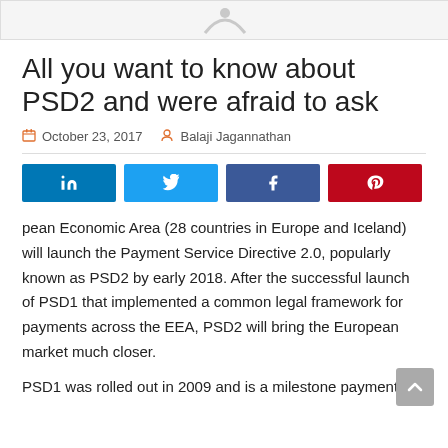[Figure (other): Partially visible header/logo image at top of page]
All you want to know about PSD2 and were afraid to ask
October 23, 2017   Balaji Jagannathan
[Figure (other): Social media sharing buttons: LinkedIn, Twitter, Facebook, Pinterest]
pean Economic Area (28 countries in Europe and Iceland) will launch the Payment Service Directive 2.0, popularly known as PSD2 by early 2018. After the successful launch of PSD1 that implemented a common legal framework for payments across the EEA, PSD2 will bring the European market much closer.
PSD1 was rolled out in 2009 and is a milestone payment